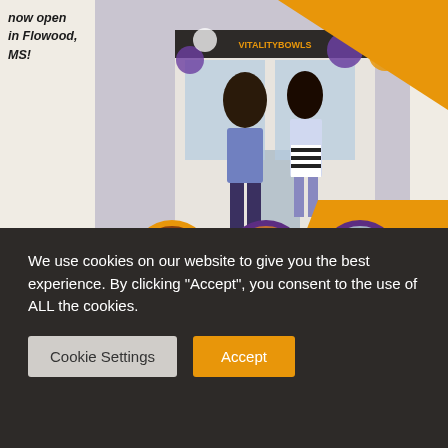[Figure (photo): Vitality Bowls Flowood MS grand opening photo collage. Top section shows two women standing in front of the Vitality Bowls store entrance with purple, white, and orange balloons. Orange and purple decorative shapes in background. Three circular inset photos show interior and exterior views of the cafe. Vitality Bowls logo with bowl icon centered below the photos. Text 'now open in Flowood, MS!' in bold italic at top left.]
We use cookies on our website to give you the best experience. By clicking “Accept”, you consent to the use of ALL the cookies.
Cookie Settings
Accept